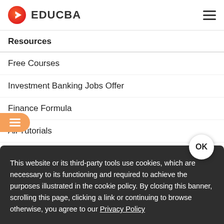EDUCBA
Resources
Free Courses
Investment Banking Jobs Offer
Finance Formula
All Tutorials
This website or its third-party tools use cookies, which are necessary to its functioning and required to achieve the purposes illustrated in the cookie policy. By closing this banner, scrolling this page, clicking a link or continuing to browse otherwise, you agree to our Privacy Policy